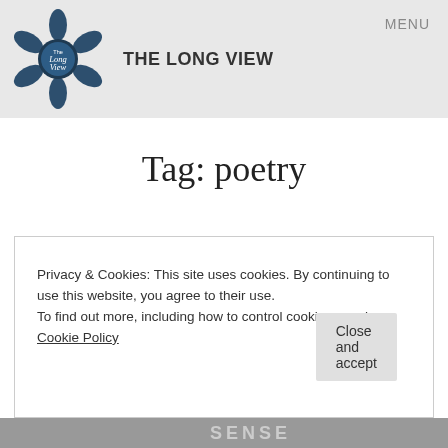THE LONG VIEW | MENU
Tag: poetry
Privacy & Cookies: This site uses cookies. By continuing to use this website, you agree to their use.
To find out more, including how to control cookies, see here: Cookie Policy
Close and accept
[Figure (photo): Partial image strip at the bottom showing a book cover with the text SENSE partially visible]